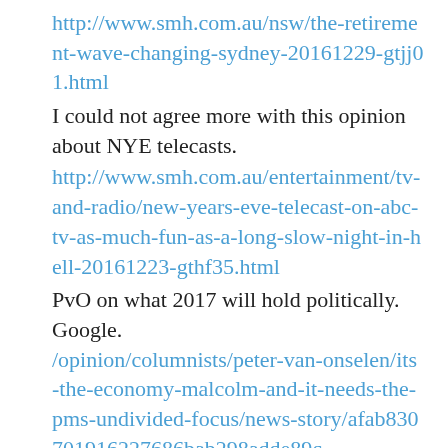http://www.smh.com.au/nsw/the-retirement-wave-changing-sydney-20161229-gtjj01.html
I could not agree more with this opinion about NYE telecasts.
http://www.smh.com.au/entertainment/tv-and-radio/new-years-eve-telecast-on-abc-tv-as-much-fun-as-a-long-slow-night-in-hell-20161223-gthf35.html
PvO on what 2017 will hold politically. Google. /opinion/columnists/peter-van-onselen/its-the-economy-malcolm-and-it-needs-the-pms-undivided-focus/news-story/afab830701916227686bab298adde89c
Bernardi fires back at Abbott. Let ‘em rip!